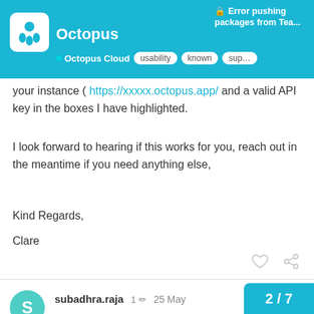Error pushing packages from Tea... | Octopus Cloud | usability | known | sup...
your instance ( https://xxxxx.octopus.app/ and a valid API key in the boxes I have highlighted.
I look forward to hearing if this works for you, reach out in the meantime if you need anything else,
Kind Regards,
Clare
subadhra.raja  1 ✏  25 May
Thanks for the quick support @clare.martin
we are using the NuGet Publish Runner typ... don't have the option to specify the Space...
2 / 7